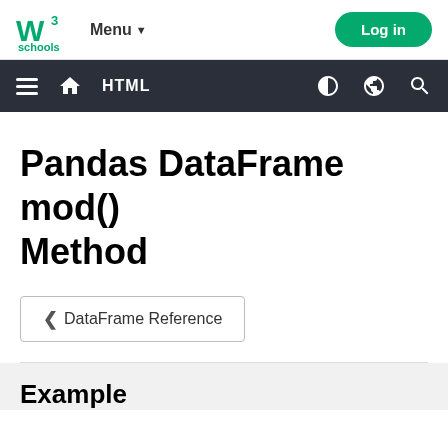W3Schools Menu Log in
HTML
Pandas DataFrame mod() Method
‹ DataFrame Reference
Example